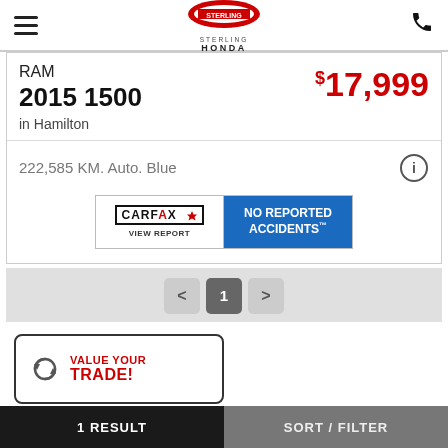Sterling Honda
RAM 2015 1500 in Hamilton $17,999
222,585 KM. Auto. Blue
[Figure (logo): CARFAX Canada badge with 'NO REPORTED ACCIDENTS' banner and 'VIEW REPORT' link]
< 1 >
VALUE YOUR TRADE!
Our stock by brand
1 RESULT    SORT / FILTER